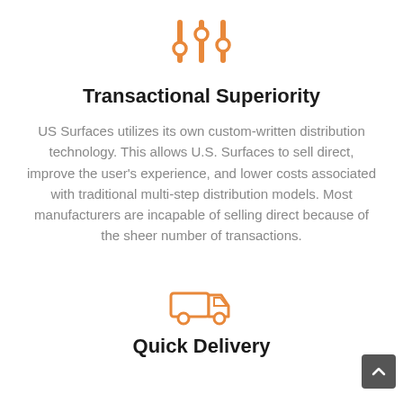[Figure (illustration): Orange sliders/settings icon with three vertical lines and circular handles]
Transactional Superiority
US Surfaces utilizes its own custom-written distribution technology. This allows U.S. Surfaces to sell direct, improve the user's experience, and lower costs associated with traditional multi-step distribution models. Most manufacturers are incapable of selling direct because of the sheer number of transactions.
[Figure (illustration): Orange delivery truck icon]
Quick Delivery